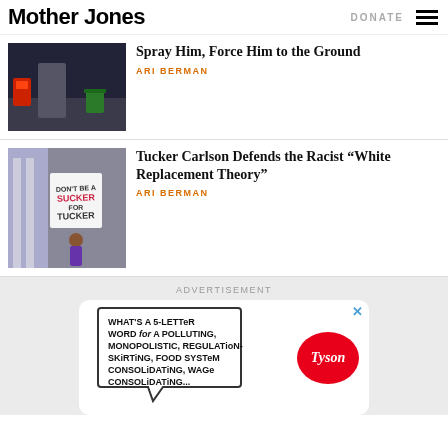Mother Jones | DONATE
Spray Him, Force Him to the Ground
ARI BERMAN
Tucker Carlson Defends the Racist “White Replacement Theory”
ARI BERMAN
ADVERTISEMENT
[Figure (illustration): Advertisement cartoon: speech bubble reads 'WHAT'S A 5-LETTER WORD for A POLLUTING, MONOPOLISTIC, REGULATION-SKIRTING, FOOD SYSTEM CONSOLIDATING, WAGE...' with a Tyson Foods logo]